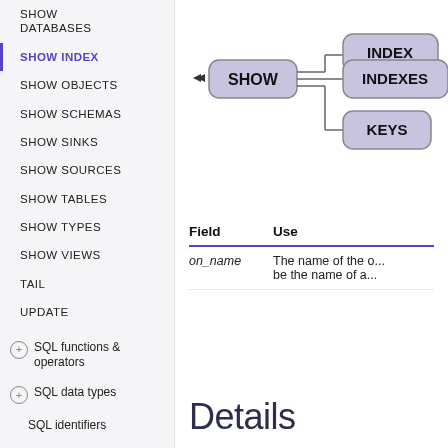SHOW DATABASES
SHOW INDEX
SHOW OBJECTS
SHOW SCHEMAS
SHOW SINKS
SHOW SOURCES
SHOW TABLES
SHOW TYPES
SHOW VIEWS
TAIL
UPDATE
SQL functions & operators
SQL data types
SQL identifiers
[Figure (flowchart): Railroad/syntax diagram for SHOW INDEX showing SHOW node connecting to three alternatives: INDEX, INDEXES, KEYS]
| Field | Use |
| --- | --- |
| on_name | The name of the o... be the name of a... |
Details